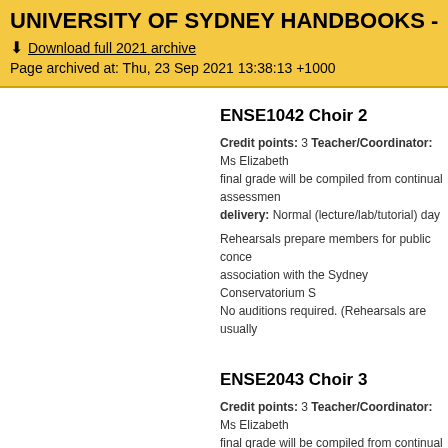UNIVERSITY OF SYDNEY HANDBOOKS - 2021
Download full 2021 archive
Page archived at: Thu, 23 Sep 2021 13:38:13 +1000
ENSE1042 Choir 2
Credit points: 3 Teacher/Coordinator: Ms Elizabeth final grade will be compiled from continual assessment delivery: Normal (lecture/lab/tutorial) day
Rehearsals prepare members for public conce association with the Sydney Conservatorium S No auditions required. (Rehearsals are usually
ENSE2043 Choir 3
Credit points: 3 Teacher/Coordinator: Ms Elizabeth final grade will be compiled from continual assessment delivery: Normal (lecture/lab/tutorial) day
Rehearsals prepare members for public conce association with the Sydney Conservatorium S No auditions required. (Rehearsals are usually
ENSE2044 Choir 4